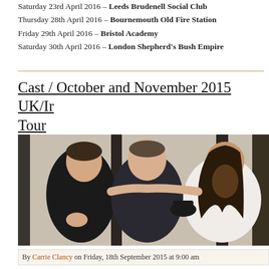Saturday 23rd April 2016 – Leeds Brudenell Social Club
Thursday 28th April 2016 – Bournemouth Old Fire Station
Friday 29th April 2016 – Bristol Academy
Saturday 30th April 2016 – London Shepherd's Bush Empire
Cast / October and November 2015 UK/Ir Tour
[Figure (photo): Three men posing together indoors; left man in black t-shirt, centre man in dark shirt smiling broadly, right man with long hair and beard holding a hat, wearing a white t-shirt.]
By Carrie Clancy on Friday, 18th September 2015 at 9:00 am